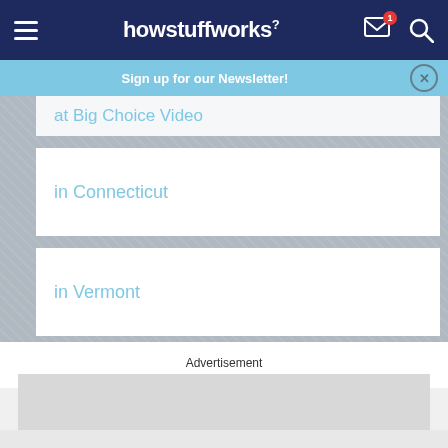howstuffworks
Sign up for our Newsletter!
at Big Choice Video
in Connecticut
in Vermont
Advertisement